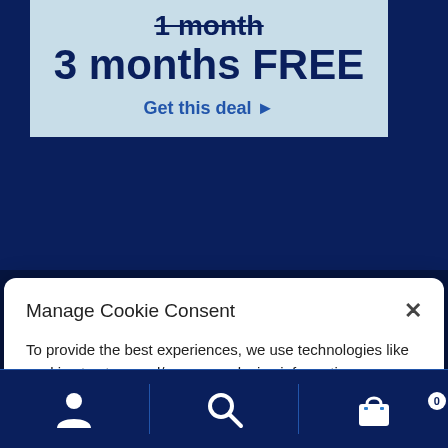1 month (strikethrough) 3 months FREE
Get this deal ▶
Manage Cookie Consent
To provide the best experiences, we use technologies like cookies to store and/or access device information. Consenting to these technologies will allow us to access data such as browsing behavior or unique IDs on this site. Not consenting withdrawing consent, may adversely affect certain features and functions.
Accept
[Figure (logo): BuySafe Guaranteed badge]
[Figure (infographic): Bottom navigation bar with person icon, search icon, and shopping basket icon with badge showing 0]